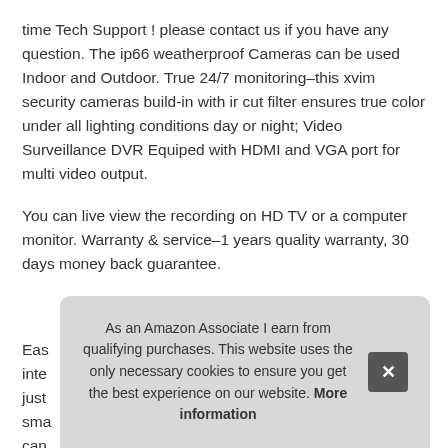time Tech Support ! please contact us if you have any question. The ip66 weatherproof Cameras can be used Indoor and Outdoor. True 24/7 monitoring–this xvim security cameras build-in with ir cut filter ensures true color under all lighting conditions day or night; Video Surveillance DVR Equiped with HDMI and VGA port for multi video output.
You can live view the recording on HD TV or a computer monitor. Warranty & service–1 years quality warranty, 30 days money back guarantee.
More information #ad
Eas inte just sma can
As an Amazon Associate I earn from qualifying purchases. This website uses the only necessary cookies to ensure you get the best experience on our website. More information